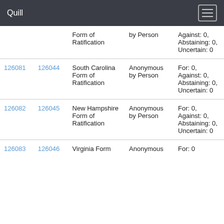Quill
|  |  | Form of Ratification | by Person | Against: 0, Abstaining: 0, Uncertain: 0 |
| 126081 | 126044 | South Carolina Form of Ratification | Anonymous by Person | For: 0, Against: 0, Abstaining: 0, Uncertain: 0 |
| 126082 | 126045 | New Hampshire Form of Ratification | Anonymous by Person | For: 0, Against: 0, Abstaining: 0, Uncertain: 0 |
| 126083 | 126046 | Virginia Form | Anonymous | For: 0 |